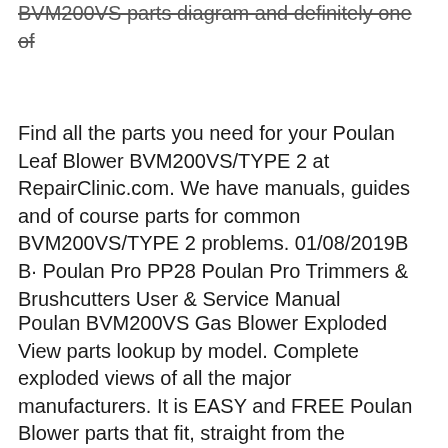BVM200VS parts diagram and definitely one of
Find all the parts you need for your Poulan Leaf Blower BVM200VS/TYPE 2 at RepairClinic.com. We have manuals, guides and of course parts for common BVM200VS/TYPE 2 problems. 01/08/2019B B· Poulan Pro PP28 Poulan Pro Trimmers & Brushcutters User & Service Manual
Poulan BVM200VS Gas Blower Exploded View parts lookup by model. Complete exploded views of all the major manufacturers. It is EASY and FREE Poulan Blower parts that fit, straight from the manufacturer. Use our